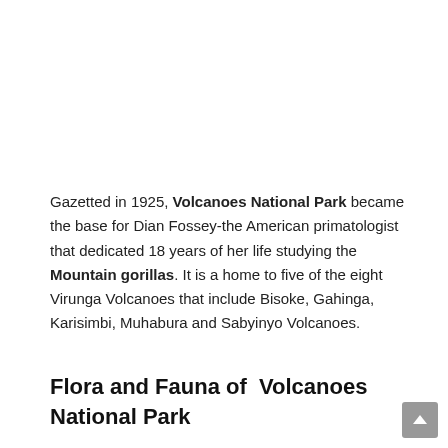Gazetted in 1925, Volcanoes National Park became the base for Dian Fossey-the American primatologist that dedicated 18 years of her life studying the Mountain gorillas. It is a home to five of the eight Virunga Volcanoes that include Bisoke, Gahinga, Karisimbi, Muhabura and Sabyinyo Volcanoes.
Flora and Fauna of  Volcanoes National Park